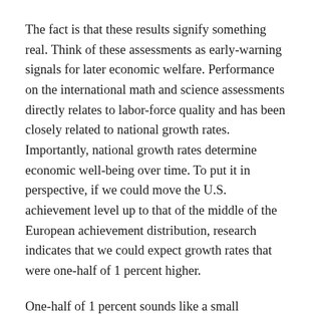The fact is that these results signify something real. Think of these assessments as early-warning signals for later economic welfare. Performance on the international math and science assessments directly relates to labor-force quality and has been closely related to national growth rates. Importantly, national growth rates determine economic well-being over time. To put it in perspective, if we could move the U.S. achievement level up to that of the middle of the European achievement distribution, research indicates that we could expect growth rates that were one-half of 1 percent higher.
One-half of 1 percent sounds like a small difference, but it is in fact a very large number. The U.S. currently has a gross domestic product per capita of $38,000. A half-percent addition to annual growth would lift this by $2,000 per person after just 10 years. In fact, the United States has